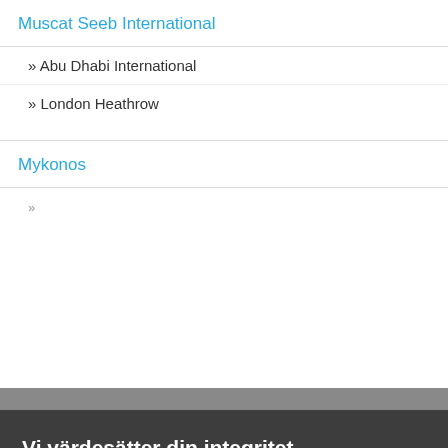Muscat Seeb International
» Abu Dhabi International
» London Heathrow
Mykonos
Vi värdesätter din integritet
Vi och våra partners samlar in information om din användning av Billigaflygbiljetter.se för att ge dig en anpassad upplevelse, tillhandahålla relevanta annonser, information och spåra konverteringar. Det hjälper oss att tillhandahålla vår tjänst, förbättra den och förstå våra besökares behov. För mer information, se vår cookiepolicy eller läs om hur du kontrollerar cookies.
Ok
Ändra cookie-preferens